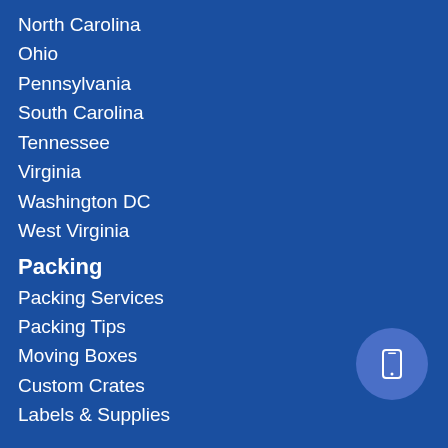North Carolina
Ohio
Pennsylvania
South Carolina
Tennessee
Virginia
Washington DC
West Virginia
Packing
Packing Services
Packing Tips
Moving Boxes
Custom Crates
Labels & Supplies
Storage
Residential